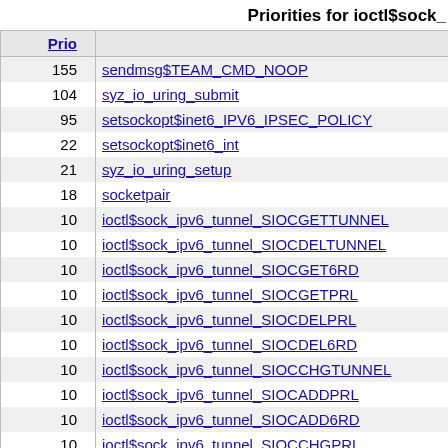Priorities for ioctl$sock_
| Prio |  |
| --- | --- |
| 155 | sendmsg$TEAM_CMD_NOOP |
| 104 | syz_io_uring_submit |
| 95 | setsockopt$inet6_IPV6_IPSEC_POLICY |
| 22 | setsockopt$inet6_int |
| 21 | syz_io_uring_setup |
| 18 | socketpair |
| 10 | ioctl$sock_ipv6_tunnel_SIOCGETTUNNEL |
| 10 | ioctl$sock_ipv6_tunnel_SIOCDELTUNNEL |
| 10 | ioctl$sock_ipv6_tunnel_SIOCGET6RD |
| 10 | ioctl$sock_ipv6_tunnel_SIOCGETPRL |
| 10 | ioctl$sock_ipv6_tunnel_SIOCDELPRL |
| 10 | ioctl$sock_ipv6_tunnel_SIOCDEL6RD |
| 10 | ioctl$sock_ipv6_tunnel_SIOCCHGTUNNEL |
| 10 | ioctl$sock_ipv6_tunnel_SIOCADDPRL |
| 10 | ioctl$sock_ipv6_tunnel_SIOCADD6RD |
| 10 | ioctl$sock_ipv6_tunnel_SIOCCHGPRL |
| 10 | ioctl$sock_ipv6_tunnel_SIOCCHG6RD |
| 9 | ioctl$sock_ipv6_tunnel_SIOCADDTUNNEL |